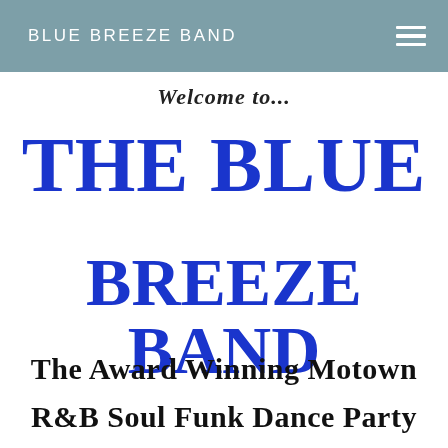BLUE BREEZE BAND
Welcome to...
THE BLUE BREEZE BAND
The Award Winning Motown
R&B Soul Funk Dance Party